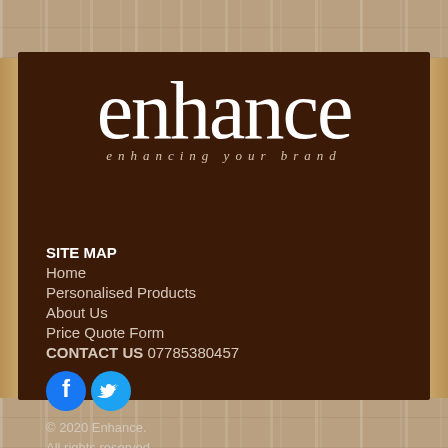[Figure (logo): Enhance brand logo — large white lowercase 'enhance' text with tagline 'enhancing your brand' on dark brown background]
SITE MAP
Home
Personalised Products
About Us
Price Quote Form
CONTACT US 07785380457
[Figure (illustration): Facebook and Twitter social media icons — circular blue buttons with white f and bird logos]
© 2020 Enhance.
All rights reserved.
Terms & Conditions